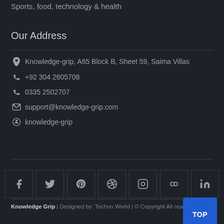Sports, food, technology & health
Our Address
Knowledge-grip, A65 Block B, Sheet 59, Saima Villas
+92 304 2605708
0335 2502707
support@knowledge-grip.com
knowledge-grip
[Figure (other): Row of 7 social media icon boxes: Facebook, Twitter, Pinterest, Dribbble, Instagram, Flickr, LinkedIn]
Knowledge Grip | Designed by: Techno World | © Copyright All reserved